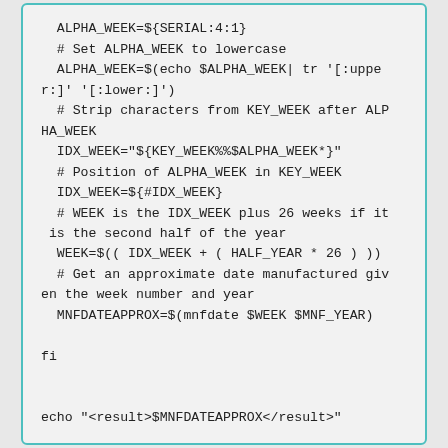ALPHA_WEEK=${SERIAL:4:1}
  # Set ALPHA_WEEK to lowercase
  ALPHA_WEEK=$(echo $ALPHA_WEEK| tr '[:upper:]' '[:lower:]')
  # Strip characters from KEY_WEEK after ALPHA_WEEK
  IDX_WEEK="${KEY_WEEK%%$ALPHA_WEEK*}"
  # Position of ALPHA_WEEK in KEY_WEEK
  IDX_WEEK=${#IDX_WEEK}
  # WEEK is the IDX_WEEK plus 26 weeks if it is the second half of the year
  WEEK=$(( IDX_WEEK + ( HALF_YEAR * 26 ) ))
  # Get an approximate date manufactured given the week number and year
  MNFDATEAPPROX=$(mnfdate $WEEK $MNF_YEAR)

fi


echo "<result>$MNFDATEAPPROX</result>"